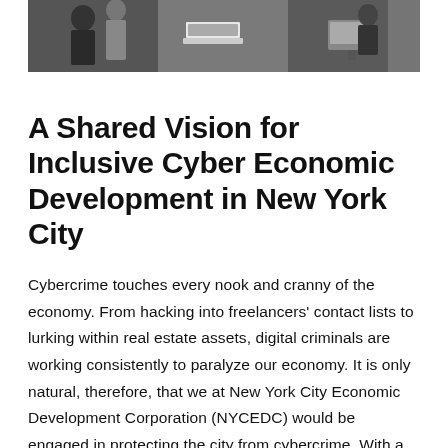[Figure (photo): A cropped photograph showing people in an office/workspace environment with computers and equipment visible, partially cut off at the top of the page.]
A Shared Vision for Inclusive Cyber Economic Development in New York City
Cybercrime touches every nook and cranny of the economy. From hacking into freelancers' contact lists to lurking within real estate assets, digital criminals are working consistently to paralyze our economy. It is only natural, therefore, that we at New York City Economic Development Corporation (NYCEDC) would be engaged in protecting the city from cybercrime. With a mission of building strong